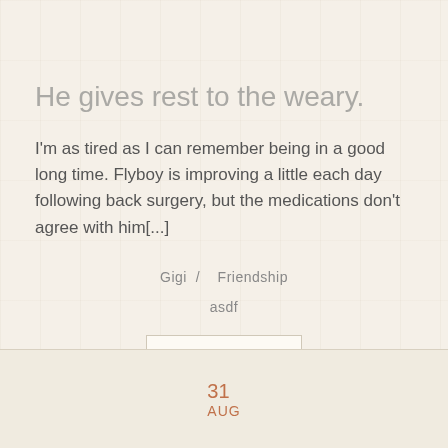He gives rest to the weary.
I'm as tired as I can remember being in a good long time. Flyboy is improving a little each day following back surgery, but the medications don't agree with him[...]
Gigi  /   Friendship
asdf
More
31
AUG